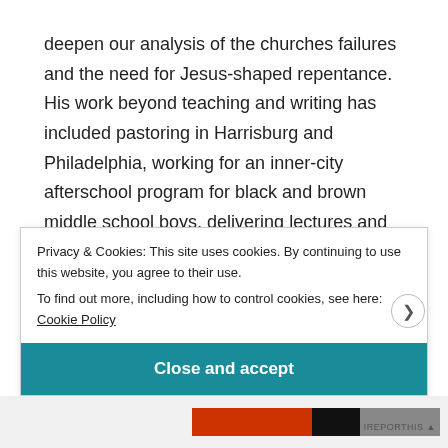deepen our analysis of the churches failures and the need for Jesus-shaped repentance. His work beyond teaching and writing has included pastoring in Harrisburg and Philadelphia, working for an inner-city afterschool program for black and brown middle school boys, delivering lectures and leading anti-racism workshops, collaborating with local faith-based organizers and activists in his city, and doing a broad range of public theology. He is also a co-leader for a local Harrisburg faith-based relational network called
Privacy & Cookies: This site uses cookies. By continuing to use this website, you agree to their use.
To find out more, including how to control cookies, see here: Cookie Policy
Close and accept